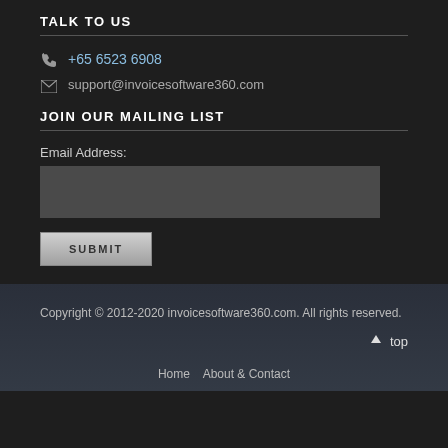TALK TO US
+65 6523 6908
support@invoicesoftware360.com
JOIN OUR MAILING LIST
Email Address:
[Figure (other): Empty email input text field]
[Figure (other): Submit button]
Copyright © 2012-2020 invoicesoftware360.com. All rights reserved.
↑ top
Home   About & Contact